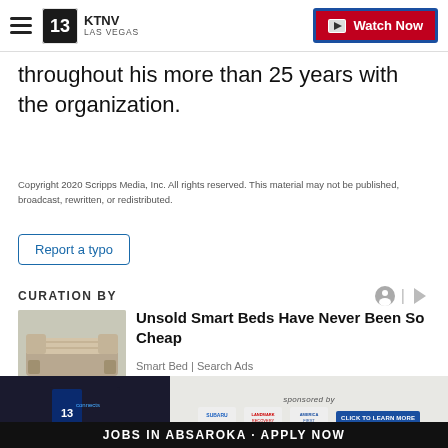KTNV LAS VEGAS | Watch Now
throughout his more than 25 years with the organization.
Copyright 2020 Scripps Media, Inc. All rights reserved. This material may not be published, broadcast, rewritten, or redistributed.
Report a typo
CURATION BY
[Figure (photo): Smart bed product photo]
Unsold Smart Beds Have Never Been So Cheap
Smart Bed | Search Ads
[Figure (infographic): 13 connects banner ad with Subaru, Landmark Recovery, America First sponsors - Click to Learn More]